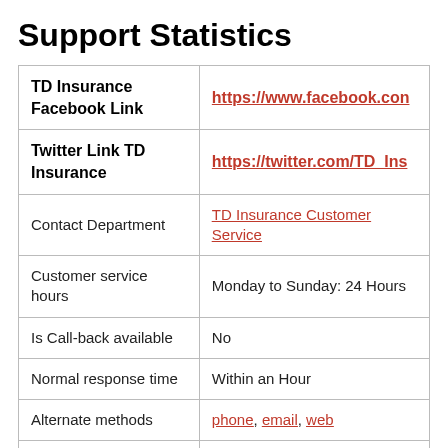Support Statistics
| TD Insurance Facebook Link | https://www.facebook.com/... |
| Twitter Link TD Insurance | https://twitter.com/TD_Ins... |
| Contact Department | TD Insurance Customer Service |
| Customer service hours | Monday to Sunday: 24 Hours |
| Is Call-back available | No |
| Normal response time | Within an Hour |
| Alternate methods | phone, email, web |
| Quality of help | 89% |